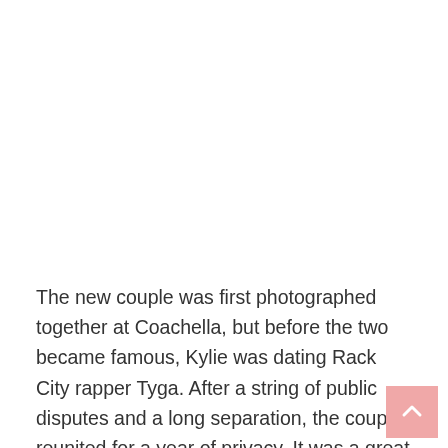The new couple was first photographed together at Coachella, but before the two became famous, Kylie was dating Rack City rapper Tyga. After a string of public disputes and a long separation, the couple reunited for a year of privacy. It was a great way for them to